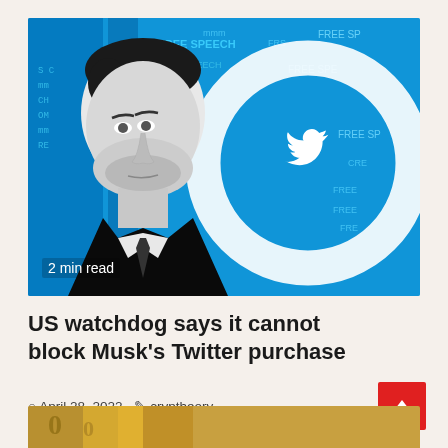[Figure (photo): Black and white photo of Elon Musk in a suit against a blue digital background with the Twitter bird logo and 'FREE SPEECH' text repeated. Badge overlay reads '2 min read'.]
US watchdog says it cannot block Musk's Twitter purchase
April 28, 2022   cryptheory
[Figure (photo): Partial bottom strip showing gold/yellow toned image, partially visible.]